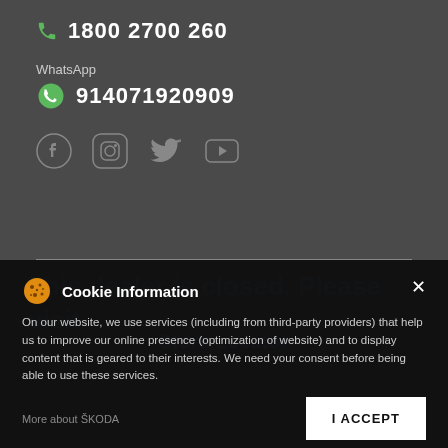1800 2700 260
WhatsApp
914071920909
[Figure (other): Social media icons: Facebook, Instagram, Twitter, YouTube]
This dealer is closed. Please visit Store Locator
Cookie Information
On our website, we use services (including from third-party providers) that help us to improve our online presence (optimization of website) and to display content that is geared to their interests. We need your consent before being able to use these services.
More about ŠKODA
I ACCEPT